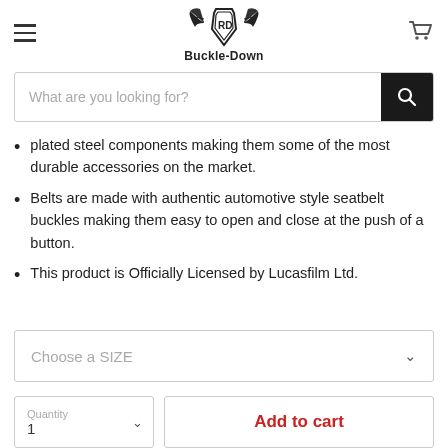Buckle-Down
What are you looking for?
plated steel components making them some of the most durable accessories on the market.
Belts are made with authentic automotive style seatbelt buckles making them easy to open and close at the push of a button.
This product is Officially Licensed by Lucasfilm Ltd.
Choose a SIZE
Quantity
1
Add to cart